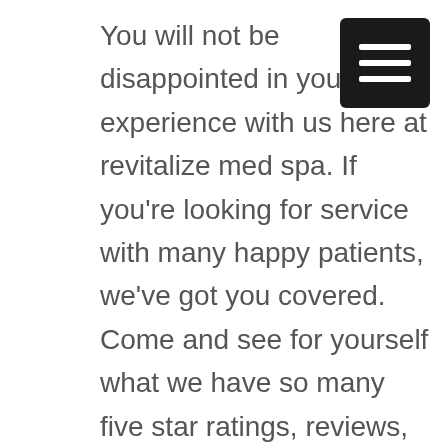You will not be disappointed in your experience with us here at revitalize med spa. If you're looking for service with many happy patients, we've got you covered. Come and see for yourself what we have so many five star ratings, reviews, and happy patients. If you're looking for the most outstanding service is at the most affordable price, don't hesitate to reach out to us today. Visit us online on our website and revitalize medical spa.com or give us a call at 918-409-2604 for more information. We guarantee that you'll be absolutely blown away but your experience with us and how